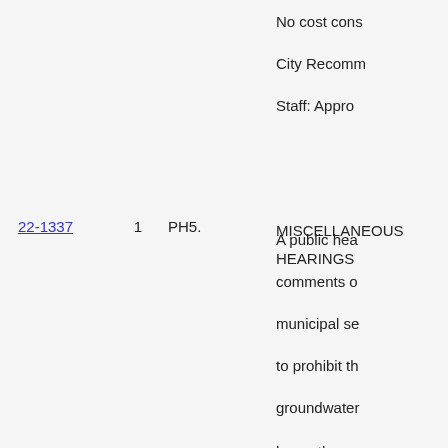No cost cons
City Recomm
Staff: Appro
22-1337  1  PH5.  MISCELLANEOUS HEARINGS  A public hea comments o municipal se to prohibit t groundwater beneath pro Preston Fore located near of Preston R Lane and adj